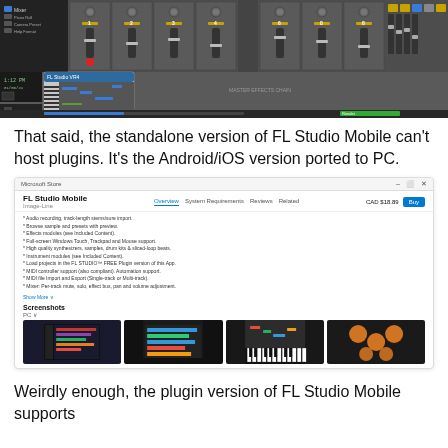[Figure (screenshot): Screenshot of a DAW (FL Studio) mixer/channel rack interface showing multiple channels with knobs, faders, numbered channel strips (1-8), and a piano roll area below]
That said, the standalone version of FL Studio Mobile can't host plugins. It's the Android/iOS version ported to PC.
[Figure (screenshot): Microsoft Store page for FL Studio Mobile showing app overview with feature list (audio recording, browse samples and presets with preview, effects modules, full-screen Windows Touch Trackpad and Mouse support, high quality synthesizers samples drum kits & sliced-loop beats, instrument modules, load projects in the FL STUDIO FREE Plugin version of this App, MIDI controller support, MIDI file import and Export, Mixer Per-track mute solo effect bus pan and volume adjustment), Show More link, Screenshots section with PC label and 4 thumbnail screenshots of the app]
Weirdly enough, the plugin version of FL Studio Mobile supports